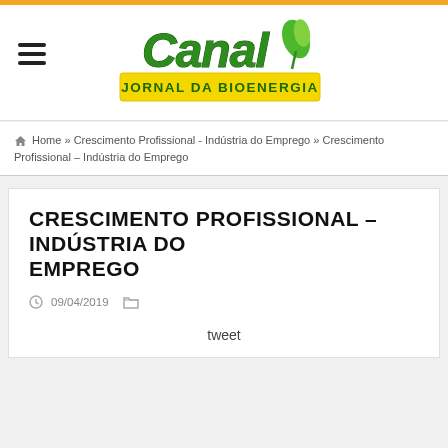[Figure (logo): Canal Jornal da Bioenergia logo — green italic 'Canal' text with leaf graphic and yellow banner reading 'JORNAL DA BIOENERGIA']
🏠 Home » Crescimento Profissional - Indústria do Emprego » Crescimento Profissional – Indústria do Emprego
CRESCIMENTO PROFISSIONAL – INDÚSTRIA DO EMPREGO
09/04/2019
tweet